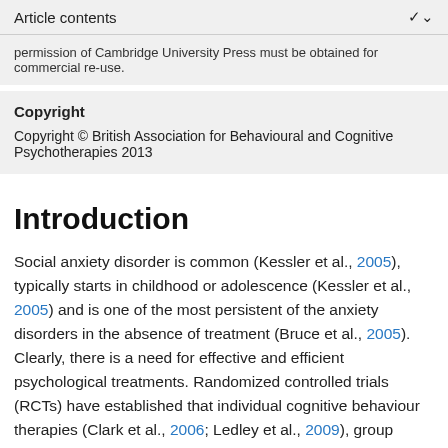Article contents
permission of Cambridge University Press must be obtained for commercial re-use.
Copyright
Copyright © British Association for Behavioural and Cognitive Psychotherapies 2013
Introduction
Social anxiety disorder is common (Kessler et al., 2005), typically starts in childhood or adolescence (Kessler et al., 2005) and is one of the most persistent of the anxiety disorders in the absence of treatment (Bruce et al., 2005). Clearly, there is a need for effective and efficient psychological treatments. Randomized controlled trials (RCTs) have established that individual cognitive behaviour therapies (Clark et al., 2006; Ledley et al., 2009), group cognitive behaviour therapies (Alden